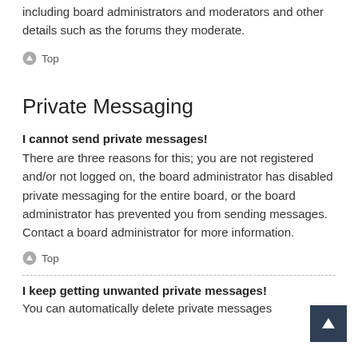This page provides you with a list of board staff, including board administrators and moderators and other details such as the forums they moderate.
⬆ Top
Private Messaging
I cannot send private messages!
There are three reasons for this; you are not registered and/or not logged on, the board administrator has disabled private messaging for the entire board, or the board administrator has prevented you from sending messages. Contact a board administrator for more information.
⬆ Top
I keep getting unwanted private messages!
You can automatically delete private messages